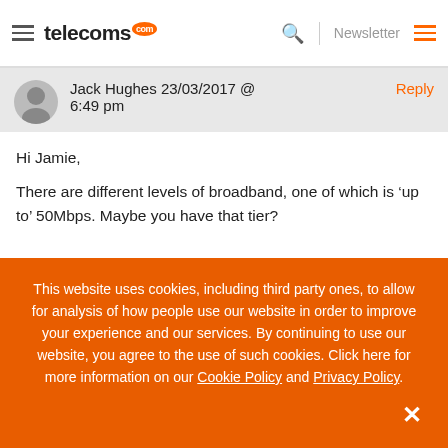telecoms.com — Newsletter
Jack Hughes 23/03/2017 @ 6:49 pm — Reply
Hi Jamie,
There are different levels of broadband, one of which is 'up to' 50Mbps. Maybe you have that tier?
This website uses cookies, including third party ones, to allow for analysis of how people use our website in order to improve your experience and our services. By continuing to use our website, you agree to the use of such cookies. Click here for more information on our Cookie Policy and Privacy Policy.